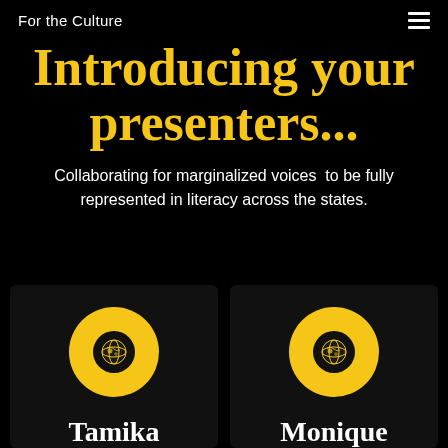For the Culture
Introducing your presenters...
Collaborating for marginalized voices  to be fully represented in literacy across the states.
[Figure (illustration): Yellow circle with black globe icon — presenter avatar for Tamika Bartley, M.Ed.]
Tamika Bartley, M.Ed.
[Figure (illustration): Yellow circle with black globe icon — presenter avatar for Monique Boone]
Monique Boone